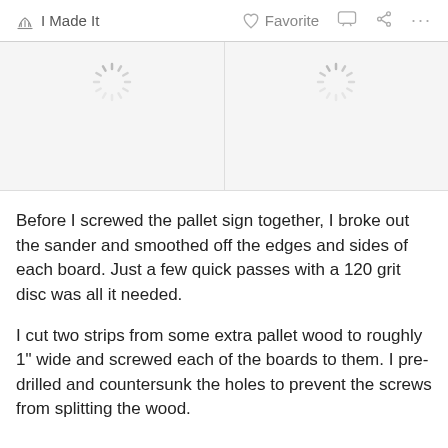I Made It   Favorite   ...
[Figure (illustration): Two loading spinner icons side by side on a light gray background, indicating images are loading]
Before I screwed the pallet sign together, I broke out the sander and smoothed off the edges and sides of each board. Just a few quick passes with a 120 grit disc was all it needed.
I cut two strips from some extra pallet wood to roughly 1" wide and screwed each of the boards to them. I pre-drilled and countersunk the holes to prevent the screws from splitting the wood.